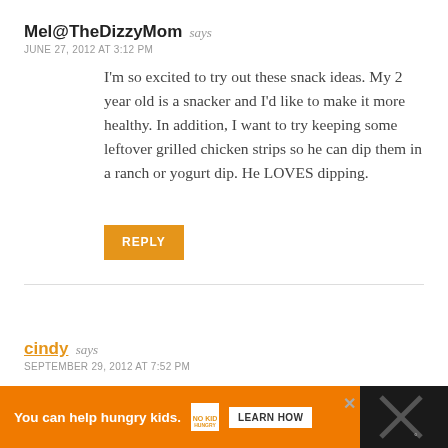Mel@TheDizzyMom says
JUNE 27, 2012 AT 3:12 PM
I'm so excited to try out these snack ideas. My 2 year old is a snacker and I'd like to make it more healthy. In addition, I want to try keeping some leftover grilled chicken strips so he can dip them in a ranch or yogurt dip. He LOVES dipping.
REPLY
cindy says
SEPTEMBER 29, 2012 AT 7:52 PM
Thanks for the link love Aimee. Great post!
[Figure (other): Advertisement banner: orange background with 'You can help hungry kids.' text and No Kid Hungry logo and LEARN HOW button, on dark background.]